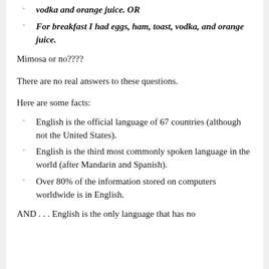vodka and orange juice. OR
For breakfast I had eggs, ham, toast, vodka, and orange juice.
Mimosa or no????
There are no real answers to these questions.
Here are some facts:
English is the official language of 67 countries (although not the United States).
English is the third most commonly spoken language in the world (after Mandarin and Spanish).
Over 80% of the information stored on computers worldwide is in English.
AND . . . English is the only language that has no